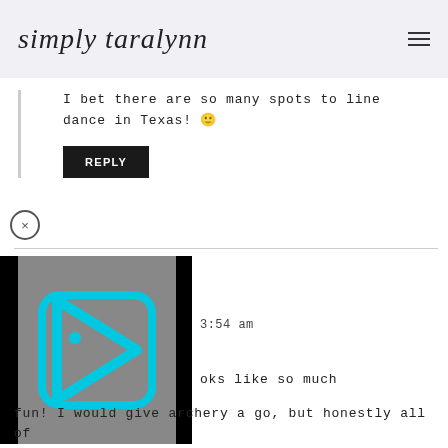simply taralynn
I bet there are so many spots to line dance in Texas! 🙂
REPLY
[Figure (screenshot): Close button (×) circle icon]
[Figure (screenshot): Video player thumbnail with cyan play button logo on grey/black background]
3:54 am
oks like so much fun! I would give archery a go, but honestly all of the activities sound amazing. A few years ago I